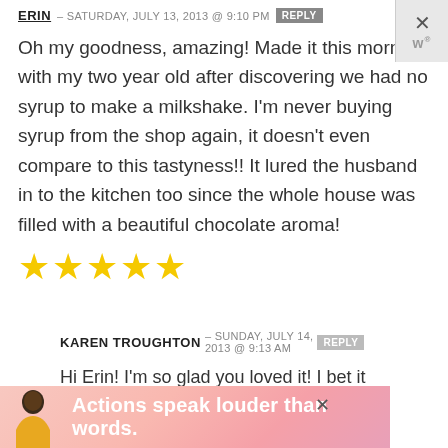ERIN – SATURDAY, JULY 13, 2013 @ 9:10 PM [REPLY]
Oh my goodness, amazing! Made it this morning with my two year old after discovering we had no syrup to make a milkshake. I'm never buying syrup from the shop again, it doesn't even compare to this tastyness!! It lured the husband in to the kitchen too since the whole house was filled with a beautiful chocolate aroma!
[Figure (other): Five yellow star rating icons]
KAREN TROUGHTON – SUNDAY, JULY 14, 2013 @ 9:13 AM [REPLY]
Hi Erin! I'm so glad you loved it! I bet it
[Figure (other): Advertisement banner: Actions speak louder than words.]